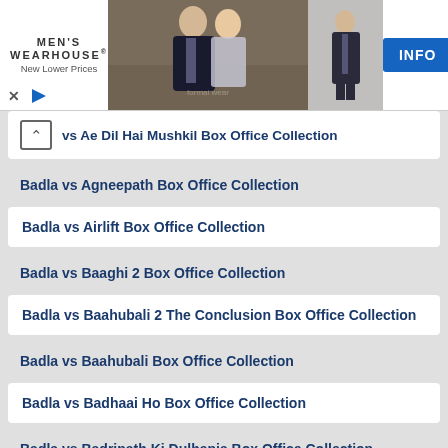[Figure (photo): Men's Wearhouse advertisement banner with logo, couple in formal wear photo, man in suit, and INFO button]
vs Ae Dil Hai Mushkil Box Office Collection
Badla vs Agneepath Box Office Collection
Badla vs Airlift Box Office Collection
Badla vs Baaghi 2 Box Office Collection
Badla vs Baahubali 2 The Conclusion Box Office Collection
Badla vs Baahubali Box Office Collection
Badla vs Badhaai Ho Box Office Collection
Badla vs Badrinath Ki Dulhania Box Office Collection